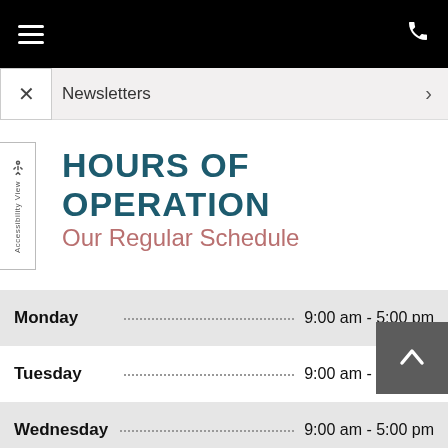Navigation bar with hamburger menu and phone icon
Newsletters >
HOURS OF OPERATION
Our Regular Schedule
| Day | Hours |
| --- | --- |
| Monday | 9:00 am - 5:00 pm |
| Tuesday | 9:00 am - 5:00 pm |
| Wednesday | 9:00 am - 5:00 pm |